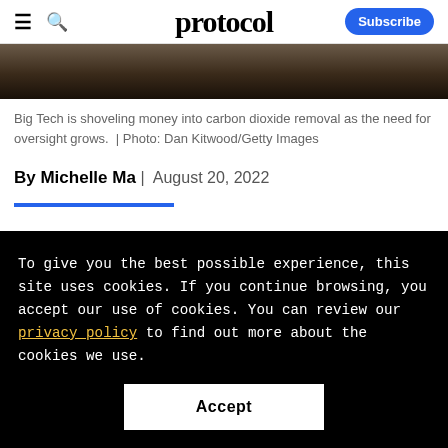protocol — Subscribe
[Figure (photo): Dark textured photo strip, appears to show a dark animal or organic texture (soil/fur), credited to Dan Kitwood/Getty Images]
Big Tech is shoveling money into carbon dioxide removal as the need for oversight grows.  |  Photo: Dan Kitwood/Getty Images
By Michelle Ma | August 20, 2022
To give you the best possible experience, this site uses cookies. If you continue browsing, you accept our use of cookies. You can review our privacy policy to find out more about the cookies we use.
Accept